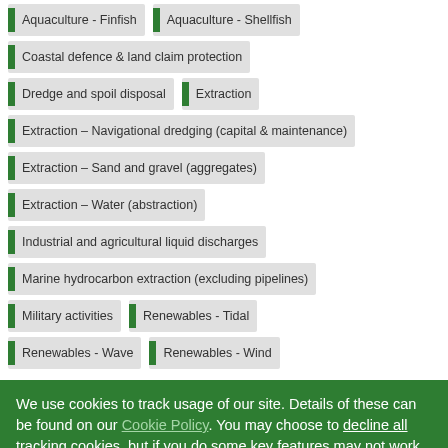Aquaculture - Finfish
Aquaculture - Shellfish
Coastal defence & land claim protection
Dredge and spoil disposal
Extraction
Extraction – Navigational dredging (capital & maintenance)
Extraction – Sand and gravel (aggregates)
Extraction – Water (abstraction)
Industrial and agricultural liquid discharges
Marine hydrocarbon extraction (excluding pipelines)
Military activities
Renewables - Tidal
Renewables - Wave
Renewables - Wind
We use cookies to track usage of our site. Details of these can be found on our Cookie Policy. You may choose to decline all tracking cookies, but if you do some key features may not work as expected.
Agree & Close